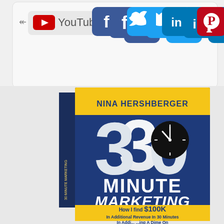[Figure (screenshot): Social media sharing interface showing YouTube logo, Facebook, Twitter, LinkedIn, and Pinterest icon buttons at the top, followed by a 3D rendered book cover for '30 Minute Marketing' by Nina Hershberger with subtitle 'How I find $100K In Additional Revenue In 30 Minutes ... A Dime On']